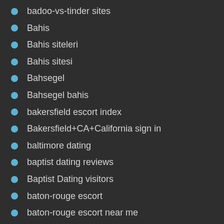badoo-vs-tinder sites
Bahis
Bahis siteleri
Bahis sitesi
Bahsegel
Bahsegel bahis
bakersfield escort index
Bakersfield+CA+California sign in
baltimore dating
baptist dating reviews
Baptist Dating visitors
baton-rouge escort
baton-rouge escort near me
bbpeoplemeet web
bbpeoplemeet-inceleme gözden geçirmek